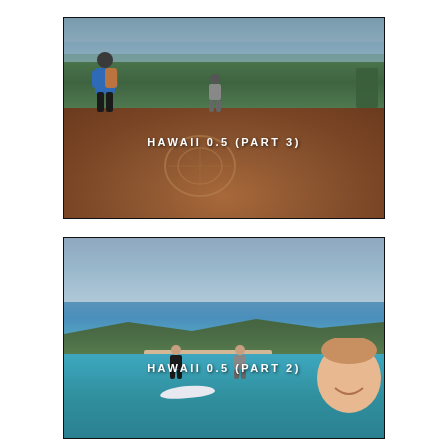[Figure (photo): Two hikers on a red rock outcrop overlooking a lush green landscape and ocean in Hawaii. Rock surface shows circular art markings. One person wears a blue shirt with a backpack. Text overlay reads HAWAII 0.5 (PART 3).]
[Figure (photo): People on stand-up paddleboards on turquoise water near a mountainous Hawaiian coastline. A smiling woman takes a selfie in the foreground. Text overlay reads HAWAII 0.5 (PART 2).]